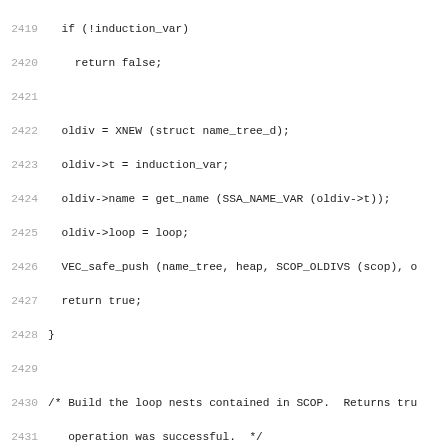Source code listing lines 2419-2450, showing C code for build_scop_loop_nests function and related code.